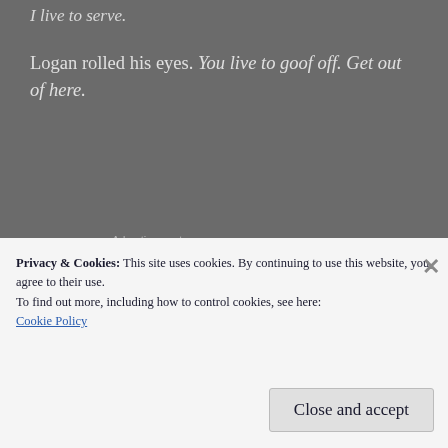I live to serve.
Logan rolled his eyes. You live to goof off. Get out of here.
Advertisements
Blade rose to his feet. “It’s hell being the fastest one in the room,” he said aloud, wiggling his brows in Zachariah’s direction.
Privacy & Cookies: This site uses cookies. By continuing to use this website, you agree to their use.
To find out more, including how to control cookies, see here: Cookie Policy
Close and accept